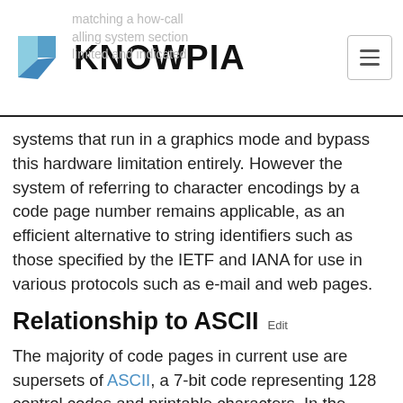KNOWPIA
systems that run in a graphics mode and bypass this hardware limitation entirely. However the system of referring to character encodings by a code page number remains applicable, as an efficient alternative to string identifiers such as those specified by the IETF and IANA for use in various protocols such as e-mail and web pages.
Relationship to ASCII
The majority of code pages in current use are supersets of ASCII, a 7-bit code representing 128 control codes and printable characters. In the distant past, 8-bit implementations of the ASCII code se top bit to zero or used it as a parity bit in network data transmissions. When the top bit was made available